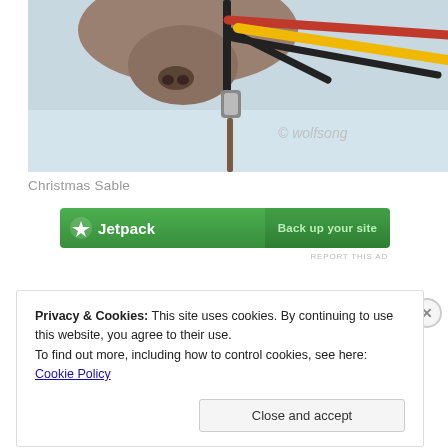[Figure (photo): Close-up photograph of a reindeer's muzzle and head harness with black, red, and yellow straps/reins against a snowy background. Watermark reads '© wolfsong'.]
Christmas Sable
[Figure (screenshot): Jetpack advertisement banner: green background with Jetpack logo and lightning bolt icon on left, 'Back up your site' text on right in green.]
REPORT THIS AD
Privacy & Cookies: This site uses cookies. By continuing to use this website, you agree to their use.
To find out more, including how to control cookies, see here: Cookie Policy
Close and accept